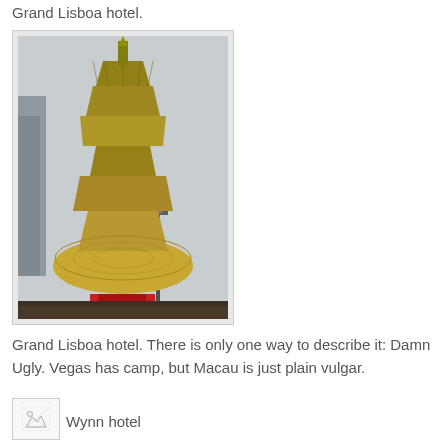Grand Lisboa hotel.
[Figure (photo): Photograph of the Grand Lisboa hotel in Macau, showing the distinctive tall tower structure with tiered architecture and a large dome base, under overcast skies.]
Grand Lisboa hotel. There is only one way to describe it: Damn Ugly. Vegas has camp, but Macau is just plain vulgar.
[Figure (photo): Small broken/placeholder image thumbnail for the Wynn hotel.]
Wynn hotel